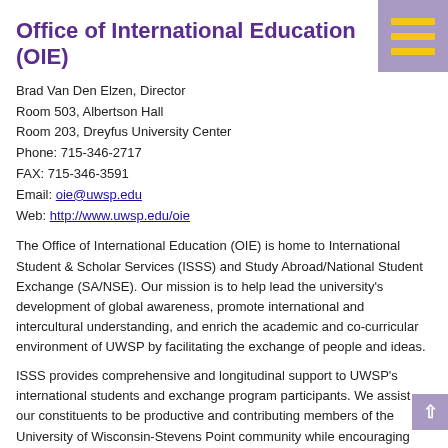Office of International Education (OIE)
Brad Van Den Elzen, Director
Room 503, Albertson Hall
Room 203, Dreyfus University Center
Phone: 715-346-2717
FAX: 715-346-3591
Email: oie@uwsp.edu
Web: http://www.uwsp.edu/oie
The Office of International Education (OIE) is home to International Student & Scholar Services (ISSS) and Study Abroad/National Student Exchange (SA/NSE). Our mission is to help lead the university's development of global awareness, promote international and intercultural understanding, and enrich the academic and co-curricular environment of UWSP by facilitating the exchange of people and ideas.
ISSS provides comprehensive and longitudinal support to UWSP's international students and exchange program participants. We assist our constituents to be productive and contributing members of the University of Wisconsin-Stevens Point community while encouraging campus and community utilization of the vast cultural resources embodied in the university's international student population. To these ends, we strive for excellence in providing international students and visiting scholars with immigration services as well as dedicated academic & co-curricular advising.
Study abroad can help you complete general education and major program requirements without lengthening your time to degree. Foreign language skills are not a prerequisite for participation in many programs, and you may apply federal and state financial aid to all Office of International Education programs.